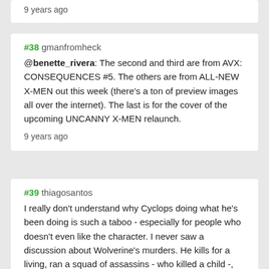9 years ago
#38 gmanfromheck
@benette_rivera: The second and third are from AVX: CONSEQUENCES #5. The others are from ALL-NEW X-MEN out this week (there's a ton of preview images all over the internet). The last is for the cover of the upcoming UNCANNY X-MEN relaunch.
9 years ago
#39 thiagosantos
I really don't understand why Cyclops doing what he's been doing is such a taboo - especially for people who doesn't even like the character. I never saw a discussion about Wolverine's murders. He kills for a living, ran a squad of assassins - who killed a child -, even after Cyclops said they should stop. Even that "Schism" bullshit: Wolverine was